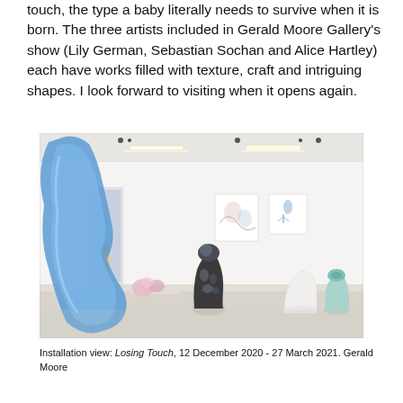touch, the type a baby literally needs to survive when it is born. The three artists included in Gerald Moore Gallery's show (Lily German, Sebastian Sochan and Alice Hartley) each have works filled with texture, craft and intriguing shapes. I look forward to visiting when it opens again.
[Figure (photo): Installation view of a gallery space showing sculptural artworks on the floor and paintings on the wall. A large blue organic-shaped wall sculpture is on the left. Several ceramic or mixed-media sculptures are on the floor, and two small framed works hang on the white walls.]
Installation view: Losing Touch, 12 December 2020 - 27 March 2021. Gerald Moore